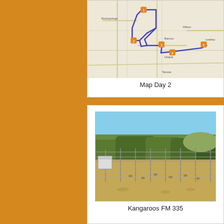[Figure (map): Road map showing a blue route line with orange waypoint markers across a region in Texas, Day 2 of a trip.]
Map Day 2
[Figure (photo): A fenced field with kangaroos visible, trees in the background, on FM 335.]
Kangaroos FM 335